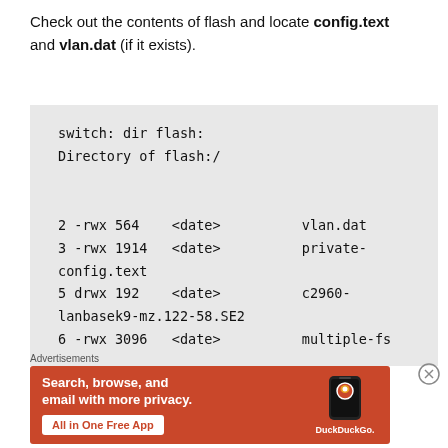Check out the contents of flash and locate config.text and vlan.dat (if it exists).
switch: dir flash:
Directory of flash:/

2 -rwx 564    <date>          vlan.dat
3 -rwx 1914   <date>          private-config.text
5 drwx 192    <date>          c2960-lanbasek9-mz.122-58.SE2
6 -rwx 3096   <date>          multiple-fs
Advertisements
[Figure (illustration): DuckDuckGo advertisement banner: orange background with phone graphic, text 'Search, browse, and email with more privacy.' and 'All in One Free App' button with DuckDuckGo logo.]